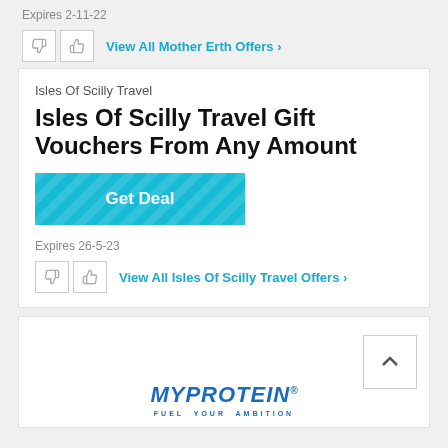Expires 2-11-22
View All Mother Erth Offers >
Isles Of Scilly Travel
Isles Of Scilly Travel Gift Vouchers From Any Amount
[Figure (other): Get Deal button with teal diagonal stripe pattern]
Expires 26-5-23
View All Isles Of Scilly Travel Offers >
[Figure (logo): MYPROTEIN FUEL YOUR AMBITION logo in blue italic bold text]